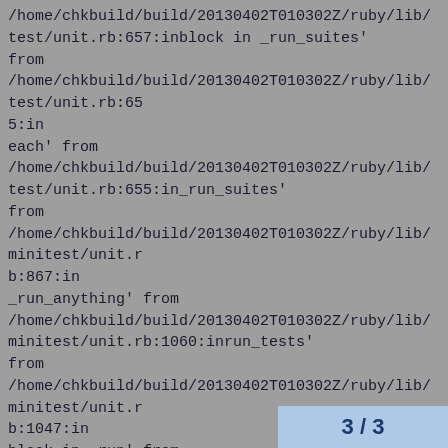/home/chkbuild/build/20130402T010302Z/ruby/lib/test/unit.rb:657:inblock in _run_suites'
from
/home/chkbuild/build/20130402T010302Z/ruby/lib/test/unit.rb:655:in
each' from
/home/chkbuild/build/20130402T010302Z/ruby/lib/test/unit.rb:655:in_run_suites'
from
/home/chkbuild/build/20130402T010302Z/ruby/lib/minitest/unit.rb:867:in
_run_anything' from
/home/chkbuild/build/20130402T010302Z/ruby/lib/minitest/unit.rb:1060:inrun_tests'
from
/home/chkbuild/build/20130402T010302Z/ruby/lib/minitest/unit.rb:1047:in
block in _run' from
/home/chkbuild/build/20130402T010302Z/minitest/unit.rb:1046:ineach'
3 / 3